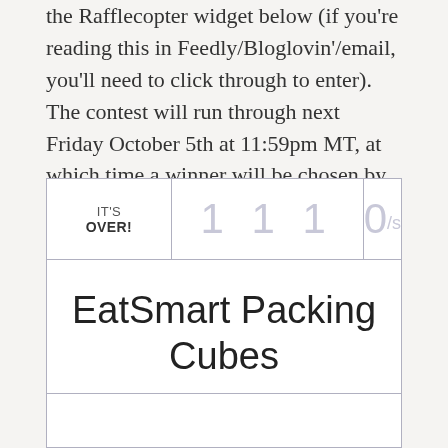the Rafflecopter widget below (if you're reading this in Feedly/Bloglovin'/email, you'll need to click through to enter). The contest will run through next Friday October 5th at 11:59pm MT, at which time a winner will be chosen by random drawing and contacted by email.
[Figure (other): Rafflecopter giveaway widget showing 'IT'S OVER!' with entry counter displaying '1 1 1' and speed '0/s', and giveaway title 'EatSmart Packing Cubes']